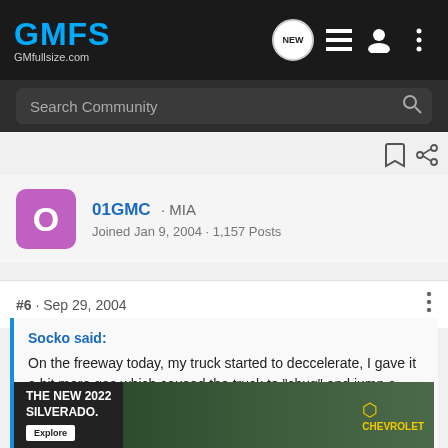GMFS GMfullsize.com
Search Community
01GMC · MIA
Joined Jan 9, 2004 · 1,157 Posts
#6 · Sep 29, 2004
Socko said:
On the freeway today, my truck started to deccelerate, I gave it a bit more gas which caused the truck to "chug" and jump a little while still slowing down. So I pulled over, got out to make sure I didnt have a flat or anything (tires are 3 weeks old so I doubted that) and checked under the hood for anything loose or damaged. Couldnt find anything. I went ... y to the acc... aged
[Figure (screenshot): Advertisement banner for The New 2022 Silverado by Chevrolet, showing a truck in a natural setting with Explore button]